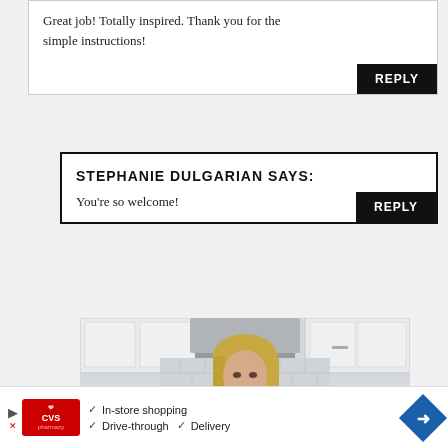Great job! Totally inspired. Thank you for the simple instructions!
REPLY
STEPHANIE DULGARIAN SAYS:
You're so welcome!
REPLY
[Figure (photo): A smiling woman with blonde hair in a white kitchen with subway tile backsplash and white cabinets]
[Figure (infographic): CVS Pharmacy advertisement banner showing In-store shopping, Drive-through, and Delivery options with navigation arrow icon]